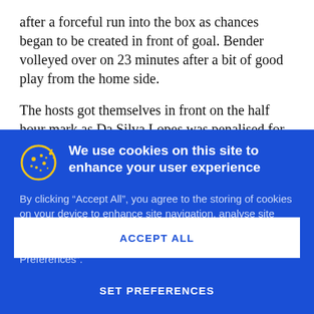after a forceful run into the box as chances began to be created in front of goal. Bender volleyed over on 23 minutes after a bit of good play from the home side.
The hosts got themselves in front on the half hour mark as Da Silva Lopes was penalised for hauling down his man
We use cookies on this site to enhance your user experience
By clicking “Accept All”, you agree to the storing of cookies on your device to enhance site navigation, analyse site usage, and assist in our marketing efforts.
You can tailor your site experience by clicking “Set Preferences”.
ACCEPT ALL
SET PREFERENCES